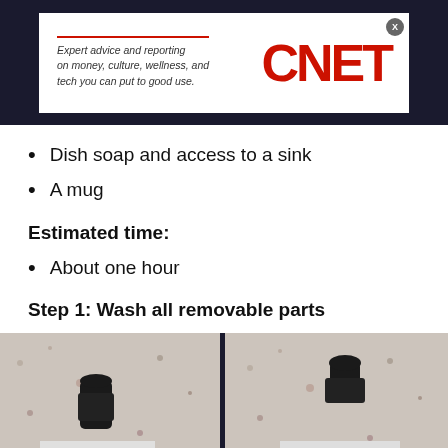[Figure (logo): CNET advertisement banner with tagline 'Expert advice and reporting on money, culture, wellness, and tech you can put to good use.' with CNET logo in red]
Dish soap and access to a sink
A mug
Estimated time:
About one hour
Step 1: Wash all removable parts
[Figure (photo): Two side-by-side photos showing coffee maker removable parts (a black cap/nozzle and a perforated filter plate) on a granite countertop surface.]